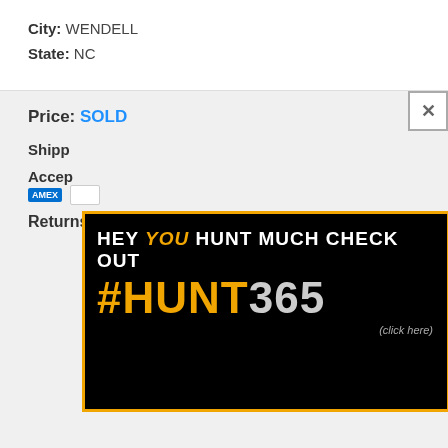City: WENDELL
State: NC
Price: SOLD
Shipping:
Accepted:
[Figure (illustration): Advertisement banner on black background with orange border. Text: HEY YOU HUNT MUCH CHECK OUT #HUNT365 (click here). 'YOU' is in orange italic, '#HUNT' in orange, '365' in grey.]
Returns: No Returns